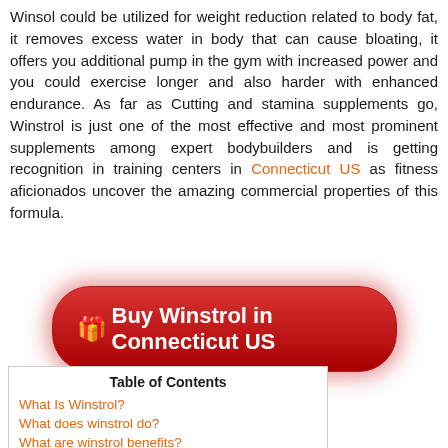Winsol could be utilized for weight reduction related to body fat, it removes excess water in body that can cause bloating, it offers you additional pump in the gym with increased power and you could exercise longer and also harder with enhanced endurance. As far as Cutting and stamina supplements go, Winstrol is just one of the most effective and most prominent supplements among expert bodybuilders and is getting recognition in training centers in Connecticut US as fitness aficionados uncover the amazing commercial properties of this formula.
[Figure (other): Red button: Buy Winstrol in Connecticut US]
| Table of Contents |
| --- |
| What Is Winstrol? |
| What does winstrol do? |
| What are winstrol benefits? |
| What is winstrol cycle? |
| What is Winstrol Cutting Connecticut US? |